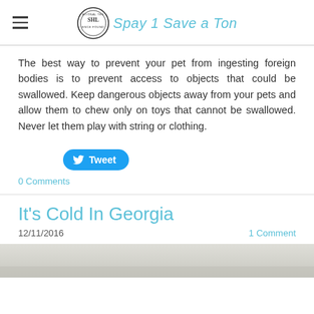Spay 1 Save a Ton
The best way to prevent your pet from ingesting foreign bodies is to prevent access to objects that could be swallowed. Keep dangerous objects away from your pets and allow them to chew only on toys that cannot be swallowed. Never let them play with string or clothing.
[Figure (other): Tweet button with Twitter bird icon]
0 Comments
It's Cold In Georgia
12/11/2016    1 Comment
[Figure (photo): Partial photo visible at bottom of page, appears to show an outdoor winter scene]